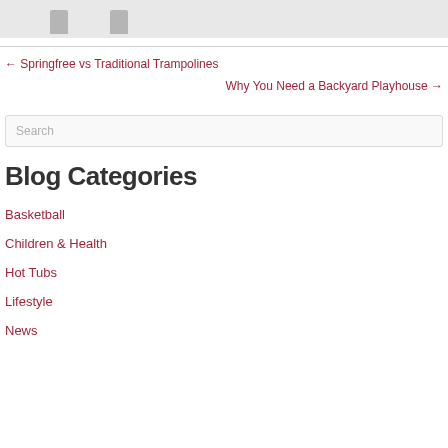[Figure (photo): Cropped image strip showing partial trash/bin icons on a light gray background]
← Springfree vs Traditional Trampolines
Why You Need a Backyard Playhouse →
Search
Blog Categories
Basketball
Children & Health
Hot Tubs
Lifestyle
News